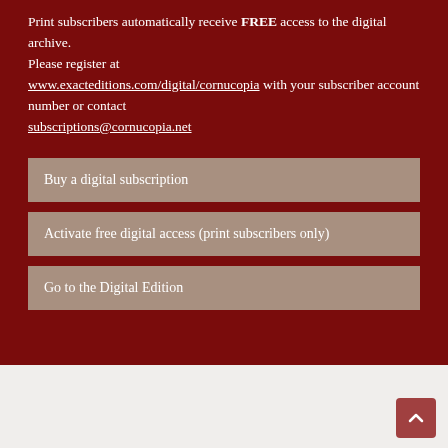Print subscribers automatically receive FREE access to the digital archive. Please register at www.exacteditions.com/digital/cornucopia with your subscriber account number or contact subscriptions@cornucopia.net
Buy a digital subscription
Activate free digital access (print subscribers only)
Go to the Digital Edition
GUIDE > THE ANATOLIAN SHORE OF THE BOSPHORUS